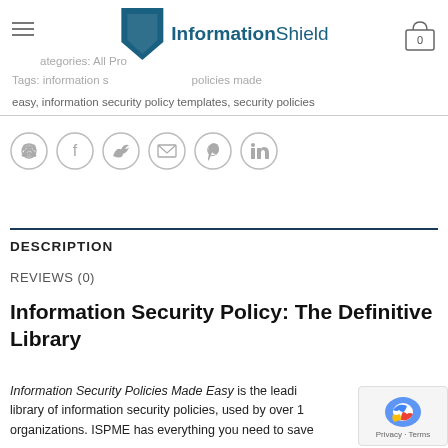InformationShield
easy, information security policy templates, security policies
[Figure (infographic): Social sharing icons row: WhatsApp, Facebook, Twitter, Email, Pinterest, LinkedIn]
DESCRIPTION
REVIEWS (0)
Information Security Policy: The Definitive Library
Information Security Policies Made Easy is the leading library of information security policies, used by over 1 organizations. ISPME has everything you need to save